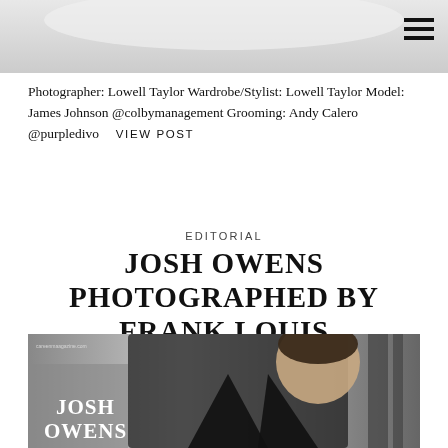[Figure (photo): Partial top image strip, light gray background, appears to be a cropped fashion/editorial photo]
Photographer: Lowell Taylor Wardrobe/Stylist: Lowell Taylor Model: James Johnson @colbymanagement Grooming: Andy Calero @purpledivo  VIEW POST
EDITORIAL
JOSH OWENS PHOTOGRAPHED BY FRANK LOUIS
[Figure (photo): Black and white editorial photo of Josh Owens wearing a black leather jacket, leaning forward toward camera. Text overlay reads 'JOSH OWENS' in white. Small text at top left reads careenmaagazine.com or similar.]